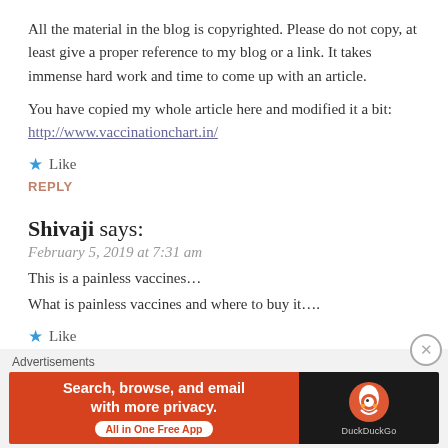All the material in the blog is copyrighted. Please do not copy, at least give a proper reference to my blog or a link. It takes immense hard work and time to come up with an article.
You have copied my whole article here and modified it a bit: http://www.vaccinationchart.in/
★ Like
REPLY
Shivaji says:
February 5, 2019 at 7:31 am
This is a painless vaccines...
What is painless vaccines and where to buy it....
★ Like
[Figure (infographic): DuckDuckGo advertisement banner: orange left section with text 'Search, browse, and email with more privacy.' and 'All in One Free App' button; dark right section with DuckDuckGo logo and label.]